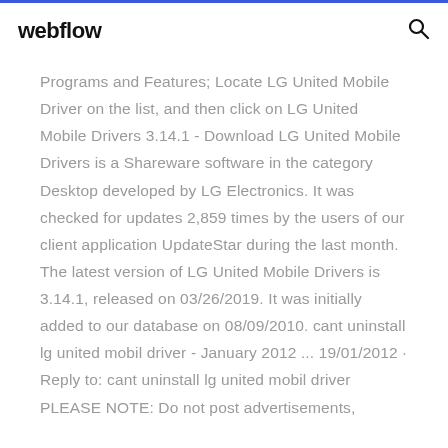webflow
Programs and Features; Locate LG United Mobile Driver on the list, and then click on LG United Mobile Drivers 3.14.1 - Download LG United Mobile Drivers is a Shareware software in the category Desktop developed by LG Electronics. It was checked for updates 2,859 times by the users of our client application UpdateStar during the last month. The latest version of LG United Mobile Drivers is 3.14.1, released on 03/26/2019. It was initially added to our database on 08/09/2010. cant uninstall lg united mobil driver - January 2012 ... 19/01/2012 · Reply to: cant uninstall lg united mobil driver PLEASE NOTE: Do not post advertisements, offensive materials, profanity, or personal attacks.